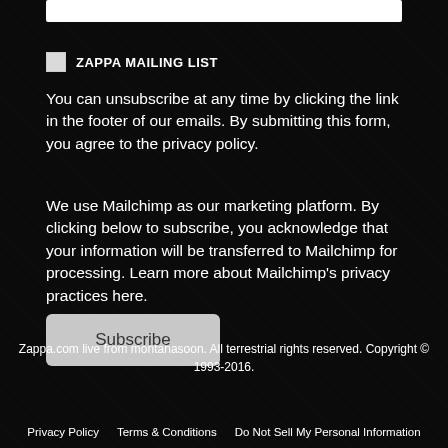ZAPPA MAILING LIST
You can unsubscribe at any time by clicking the link in the footer of our emails. By submitting this form, you agree to the privacy policy.
We use Mailchimp as our marketing platform. By clicking below to subscribe, you acknowledge that your information will be transferred to Mailchimp for processing. Learn more about Mailchimp's privacy practices here.
Subscribe
Zappa.com live from montanasoon. All terrestrial rights reserved. Copyright © 1993-2016.
Privacy Policy   Terms & Conditions   Do Not Sell My Personal Information